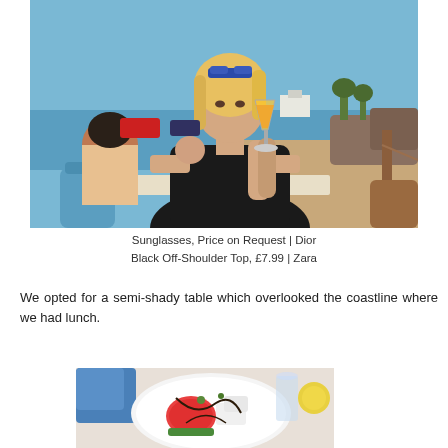[Figure (photo): Woman with blonde hair and sunglasses on head, wearing a black off-shoulder top, drinking an orange cocktail at a beach restaurant table. A man is visible in the background, and behind them is a sunny beach with blue sea and rocky coastline.]
Sunglasses, Price on Request | Dior
Black Off-Shoulder Top, £7.99 | Zara
We opted for a semi-shady table which overlooked the coastline where we had lunch.
[Figure (photo): A plate of food featuring watermelon slices with what appears to be cheese and balsamic drizzle, with glasses and a yellow garnish visible in the background.]